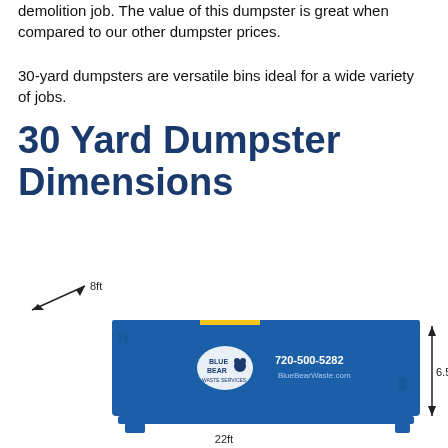demolition job. The value of this dumpster is great when compared to our other dumpster prices.
30-yard dumpsters are versatile bins ideal for a wide variety of jobs.
30 Yard Dumpster Dimensions
[Figure (photo): Blue Bear Waste Services 30-yard dumpster with dimension annotations: 8ft width arrow at top-left, 6.5ft height arrow on right side, 22ft length arrow at bottom. Dumpster is blue with logo and phone number 720-500-5282 and BlueBearWaste.com]